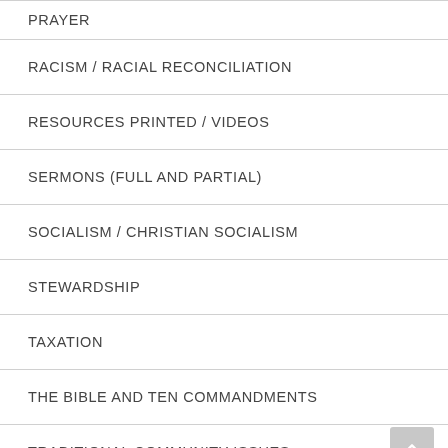PRAYER
RACISM / RACIAL RECONCILIATION
RESOURCES PRINTED / VIDEOS
SERMONS (FULL AND PARTIAL)
SOCIALISM / CHRISTIAN SOCIALISM
STEWARDSHIP
TAXATION
THE BIBLE AND TEN COMMANDMENTS
TRADITIONAL COMMUNITY ISSUES